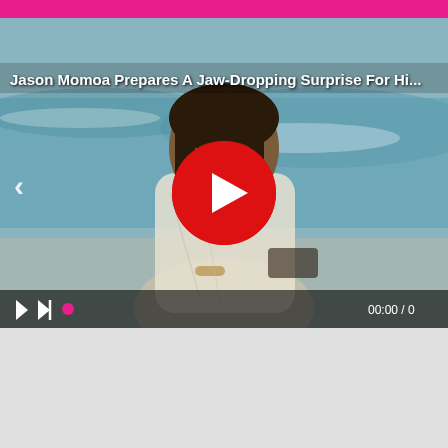[Figure (screenshot): Video player screenshot showing Jason Momoa standing on a beach in a wet white t-shirt, with a large red play button overlay in the center. The image has video controls at the bottom including play, skip, and time indicators. Title text overlay reads: Jason Momoa Prepares A Jaw-Dropping Surprise For His]
Jason Momoa Prepares A Jaw-Dropping Surprise For His
00:00 / 0